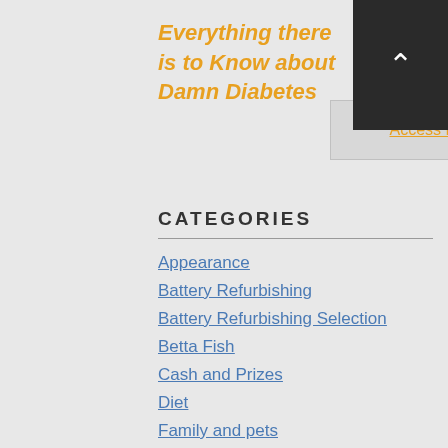Everything there is to Know about Damn Diabetes
Access Now
CATEGORIES
Appearance
Battery Refurbishing
Battery Refurbishing Selection
Betta Fish
Cash and Prizes
Diet
Family and pets
Fat Reducer
Game Tester
Get Your Ex Back
Health